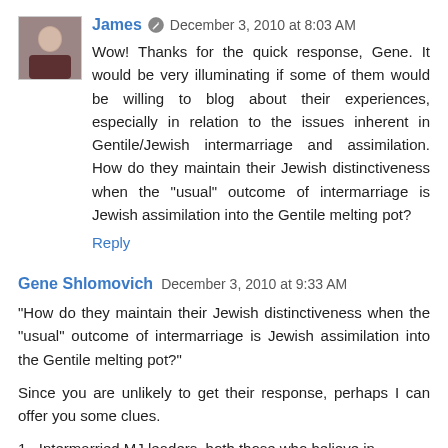[Figure (photo): Small avatar photo of a man named James, approximately 62x62 pixels]
James ✎ December 3, 2010 at 8:03 AM
Wow! Thanks for the quick response, Gene. It would be very illuminating if some of them would be willing to blog about their experiences, especially in relation to the issues inherent in Gentile/Jewish intermarriage and assimilation. How do they maintain their Jewish distinctiveness when the "usual" outcome of intermarriage is Jewish assimilation into the Gentile melting pot?
Reply
Gene Shlomovich December 3, 2010 at 9:33 AM
"How do they maintain their Jewish distinctiveness when the "usual" outcome of intermarriage is Jewish assimilation into the Gentile melting pot?"
Since you are unlikely to get their response, perhaps I can offer you some clues.
1.  Intermarried MJ leaders, both those who believe in